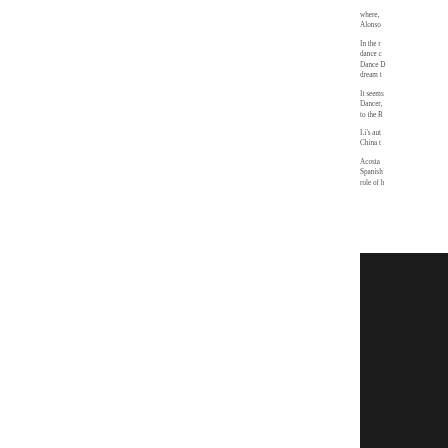where, Alonso
In the r dance c Dance D dream t
It seems Dancer, to the R
Li's aut China t
Acosta Spanish role of h
[Figure (photo): Dark/black image in the lower right portion of the page]